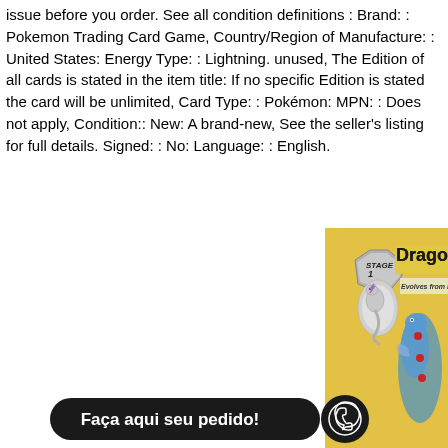issue before you order. See all condition definitions : Brand: : Pokemon Trading Card Game, Country/Region of Manufacture: : United States: Energy Type: : Lightning. unused, The Edition of all cards is stated in the item title: If no specific Edition is stated the card will be unlimited, Card Type: : Pokémon: MPN: : Does not apply, Condition:: New: A brand-new, See the seller's listing for full details. Signed: : No: Language: : English.
[Figure (photo): Partial Pokemon trading card showing 'STAGE 1' badge with Dratini evolution image, 'Dragonair' title (partially cut off), and 'Evolves from Dratini' text. Yellow card background with dragon character visible. Overlay shows a black rounded button with Portuguese text 'Faça aqui seu pedido!' and a WhatsApp icon.]